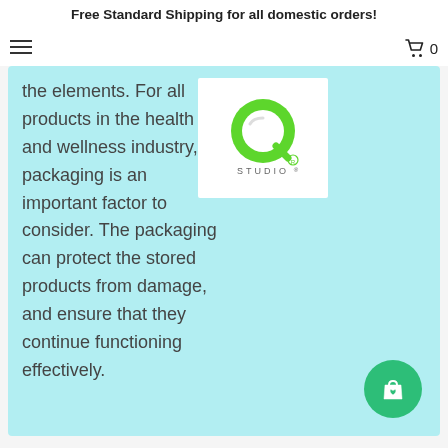Free Standard Shipping for all domestic orders!
the elements. For all products in the health and wellness industry, packaging is an important factor to consider. The packaging can protect the stored products from damage, and ensure that they continue functioning effectively.
[Figure (logo): Q Studio logo: green letter Q with STUDIO text below]
[Figure (other): Green circular floating button with shopping bag and heart icon]